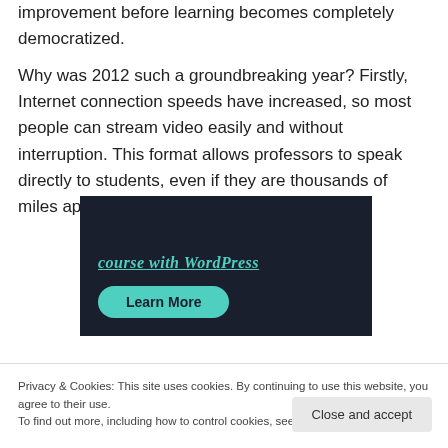improvement before learning becomes completely democratized.
Why was 2012 such a groundbreaking year? Firstly, Internet connection speeds have increased, so most people can stream video easily and without interruption. This format allows professors to speak directly to students, even if they are thousands of miles apart.
[Figure (screenshot): Dark background promotional image showing 'course with WordPress' text in teal italic font and a teal 'Learn More' button]
Privacy & Cookies: This site uses cookies. By continuing to use this website, you agree to their use.
To find out more, including how to control cookies, see here: Cookie Policy
Close and accept